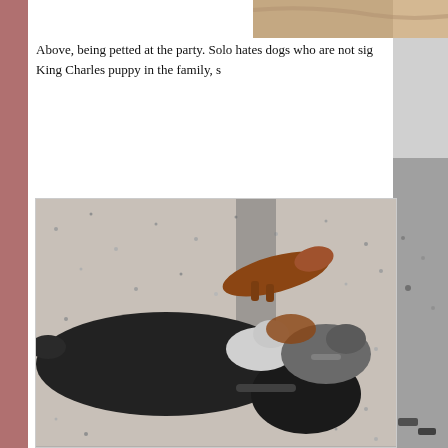[Figure (photo): Partial photo at top right showing a person's hand/arm petting something, cropped at right edge of page]
Above, being petted at the party. Solo hates dogs who are not sig... King Charles puppy in the family, s...
[Figure (photo): Photo of multiple dogs including a large black dog/Labrador and a small brown dachshund on a speckled floor, viewed from above]
[Figure (photo): Partial photo on far right edge showing a dog on a speckled floor]